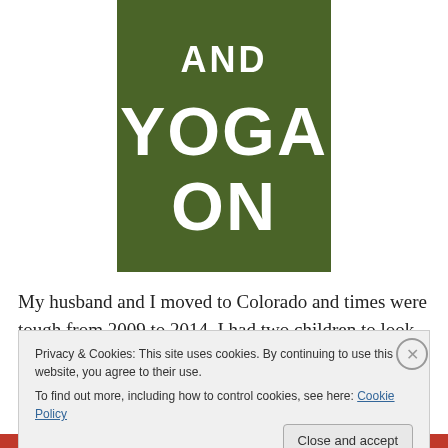[Figure (illustration): Book cover with olive/dark green background showing white text 'AND YOGA ON']
My husband and I moved to Colorado and times were tough from 2009 to 2014. I had two children to look after and no money to spend. Not to mention no time to myself or anyone to watch the children for me while I went to
Privacy & Cookies: This site uses cookies. By continuing to use this website, you agree to their use.
To find out more, including how to control cookies, see here: Cookie Policy
Close and accept